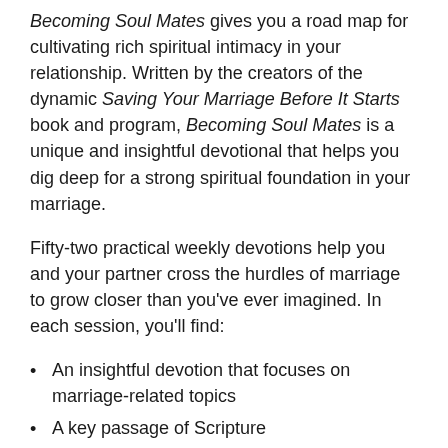Becoming Soul Mates gives you a road map for cultivating rich spiritual intimacy in your relationship. Written by the creators of the dynamic Saving Your Marriage Before It Starts book and program, Becoming Soul Mates is a unique and insightful devotional that helps you dig deep for a strong spiritual foundation in your marriage.
Fifty-two practical weekly devotions help you and your partner cross the hurdles of marriage to grow closer than you've ever imagined. In each session, you'll find:
An insightful devotion that focuses on marriage-related topics
A key passage of Scripture
Questions that will spark discussions on crucial issues
Insights from real-life soul mates like Pat and Shirley Boone, Bill and Vonette Bright, Norm and Joyce